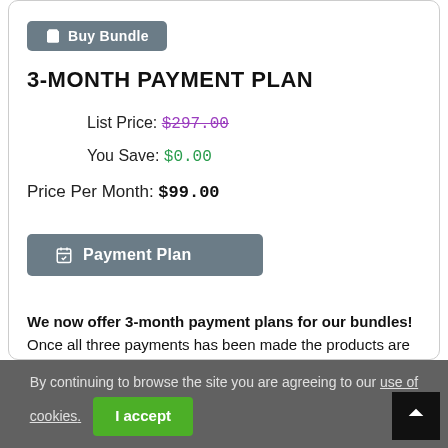[Figure (other): Buy Bundle button with shopping cart icon, grey background]
3-MONTH PAYMENT PLAN
List Price: $297.00
You Save: $0.00
Price Per Month: $99.00
[Figure (other): Payment Plan button with calendar icon, grey background]
We now offer 3-month payment plans for our bundles! Once all three payments has been made the products are yours to keep forever. Should you choose to cancel the payments, your license will be invalidated from for further use.
Please note: We do not offer refunds in case of cancellation.
By continuing to browse the site you are agreeing to our use of cookies. I accept